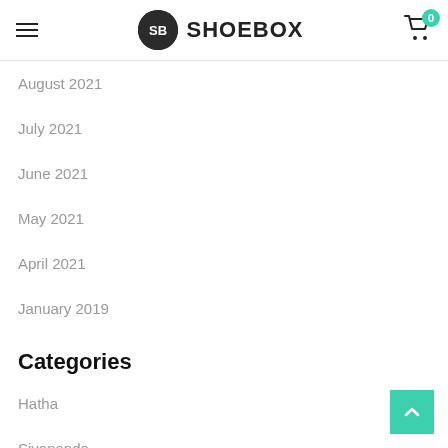SHOEBOX
August 2021
July 2021
June 2021
May 2021
April 2021
January 2019
Categories
Hatha
Sivananda